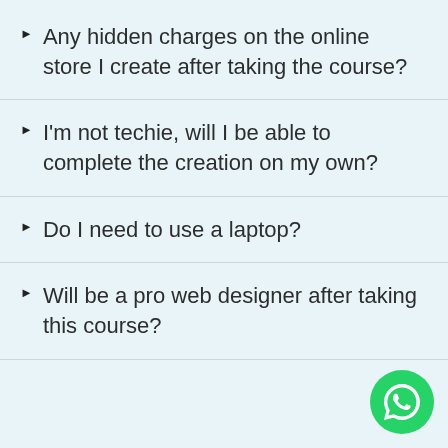Any hidden charges on the online store I create after taking the course?
I'm not techie, will I be able to complete the creation on my own?
Do I need to use a laptop?
Will be a pro web designer after taking this course?
[Figure (logo): WhatsApp floating button icon in green circle at bottom right]